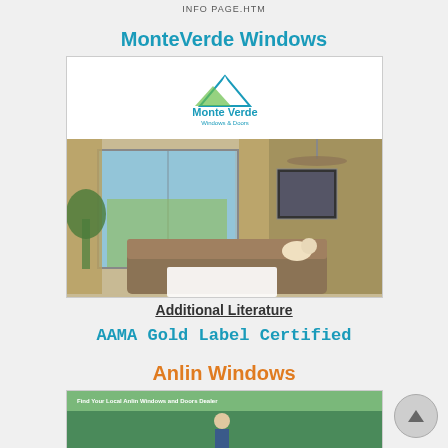INFO PAGE.htm
MonteVerde Windows
[Figure (photo): MonteVerde Windows and Doors logo and a living room interior photo showing large sliding glass doors/windows with patio view, sofa, coffee table, ceiling fan, and decorative plants]
Additional Literature
AAMA Gold Label Certified
Anlin Windows
[Figure (photo): Anlin Windows and Doors promotional image showing a person, partially visible at bottom of page]